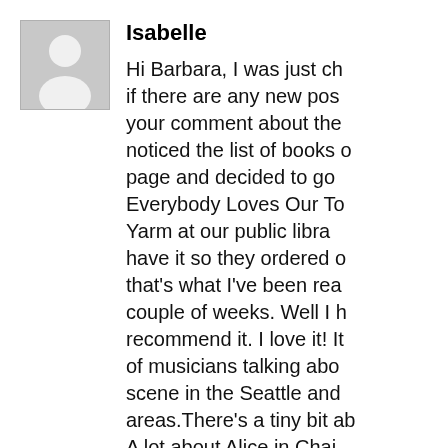[Figure (photo): Default user avatar icon — grey square with white silhouette of a person]
Isabelle
Hi Barbara, I was just ch if there are any new pos your comment about the noticed the list of books page and decided to go Everybody Loves Our To Yarm at our public libra have it so they ordered that's what I've been rea couple of weeks. Well I recommend it. I love it! of musicians talking abo scene in the Seattle and areas.There's a tiny bit A lot about Alice in Cha Season and Layne. I just